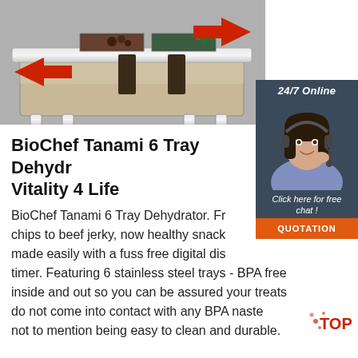[Figure (photo): Photo of a BioChef Tanami stainless steel food dehydrator tray on a grey background, with two red arrows pointing inward from left and right sides]
[Figure (illustration): 24/7 Online customer support widget showing a female call center agent wearing a headset, with dark blue background, italic white text 'Click here for free chat !' and an orange QUOTATION button]
BioChef Tanami 6 Tray Dehydrator - Vitality 4 Life
BioChef Tanami 6 Tray Dehydrator. From fruit chips to beef jerky, now healthy snacks are made easily with a fuss free digital display timer. Featuring 6 stainless steel trays - BPA free inside and out so you can be assured your treats do not come into contact with any BPA nasties, not to mention being easy to clean and durable.